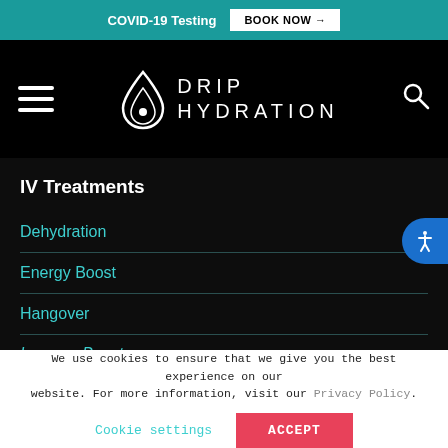COVID-19 Testing  BOOK NOW →
[Figure (logo): Drip Hydration logo with water drop icon and text DRIP HYDRATION on black navigation bar with hamburger menu and search icon]
IV Treatments
Dehydration
Energy Boost
Hangover
Immune Boost
We use cookies to ensure that we give you the best experience on our website. For more information, visit our Privacy Policy.
Cookie settings  ACCEPT